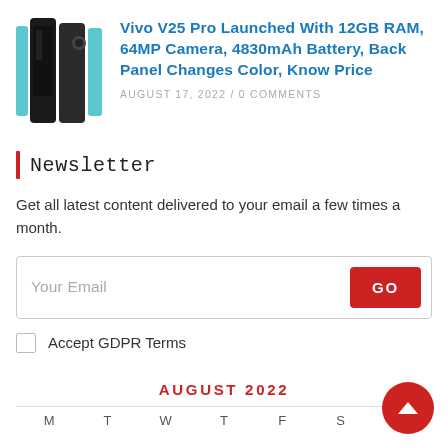[Figure (photo): Vivo V25 Pro smartphone shown from multiple angles with black and cyan/teal color options]
Vivo V25 Pro Launched With 12GB RAM, 64MP Camera, 4830mAh Battery, Back Panel Changes Color, Know Price
AUGUST 17, 2022 /  0 COMMENTS
Newsletter
Get all latest content delivered to your email a few times a month.
Your Email
GO
Accept GDPR Terms
AUGUST 2022
M  T  W  T  F  S  S